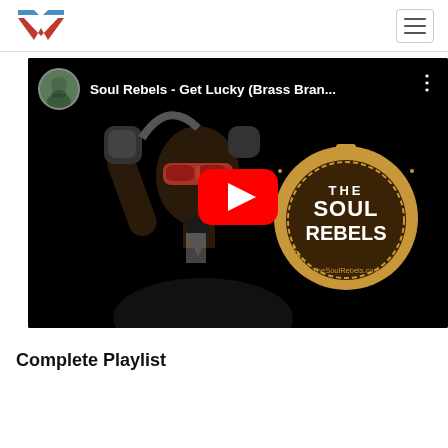Navigation header with logo and hamburger menu
[Figure (screenshot): YouTube video embed showing 'Soul Rebels - Get Lucky (Brass Bran...' with a play button, a person wearing sunglasses and headphones, and The Soul Rebels New Orleans drum logo on the right]
Complete Playlist